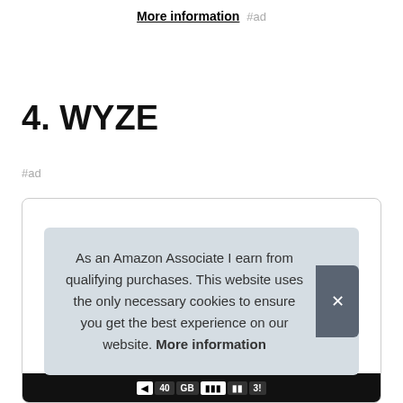More information #ad
4. WYZE
#ad
[Figure (screenshot): Product listing box for WYZE with a cookie consent banner overlay reading: As an Amazon Associate I earn from qualifying purchases. This website uses the only necessary cookies to ensure you get the best experience on our website. More information]
As an Amazon Associate I earn from qualifying purchases. This website uses the only necessary cookies to ensure you get the best experience on our website. More information